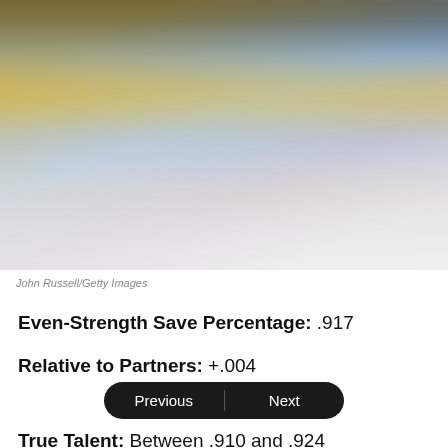[Figure (photo): Blurred hockey game action photo showing players on ice, one in yellow/gold jersey]
John Russell/Getty Images
Even-Strength Save Percentage: .917
Relative to Partners: +.004
True Talent: Between .910 and .924